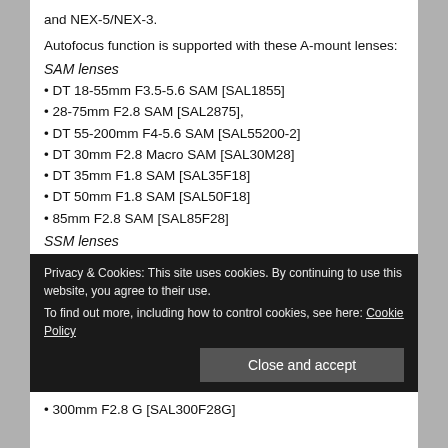and NEX-5/NEX-3.
Autofocus function is supported with these A-mount lenses:
SAM lenses
• DT 18-55mm F3.5-5.6 SAM [SAL1855]
• 28-75mm F2.8 SAM [SAL2875],
• DT 55-200mm F4-5.6 SAM [SAL55200-2]
• DT 30mm F2.8 Macro SAM [SAL30M28]
• DT 35mm F1.8 SAM [SAL35F18]
• DT 50mm F1.8 SAM [SAL50F18]
• 85mm F2.8 SAM [SAL85F28]
SSM lenses
• Vario-Sonnar T* 16-35mm F2.8 ZA SSM [SAL1635Z]
• Vario-Sonnar T* 24-70mm F2.8 ZA SSM [SAL2470Z]
Privacy & Cookies: This site uses cookies. By continuing to use this website, you agree to their use.
To find out more, including how to control cookies, see here: Cookie Policy
• 300mm F2.8 G [SAL300F28G]